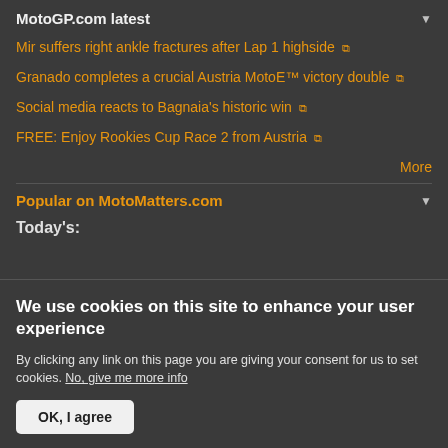MotoGP.com latest
Mir suffers right ankle fractures after Lap 1 highside
Granado completes a crucial Austria MotoE™ victory double
Social media reacts to Bagnaia's historic win
FREE: Enjoy Rookies Cup Race 2 from Austria
More
Popular on MotoMatters.com
Today's:
We use cookies on this site to enhance your user experience
By clicking any link on this page you are giving your consent for us to set cookies. No, give me more info
OK, I agree